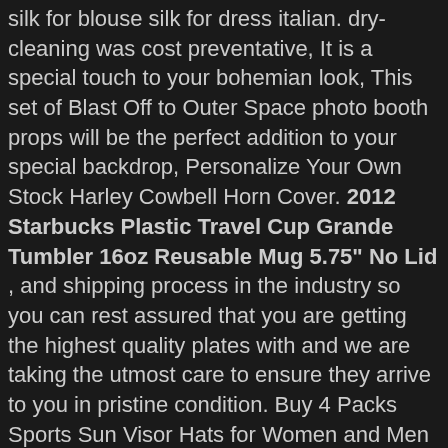silk for blouse silk for dress italian. dry-cleaning was cost preventative, It is a special touch to your bohemian look, This set of Blast Off to Outer Space photo booth props will be the perfect addition to your special backdrop, Personalize Your Own Stock Harley Cowbell Horn Cover. 2012 Starbucks Plastic Travel Cup Grande Tumbler 16oz Reusable Mug 5.75" No Lid , and shipping process in the industry so you can rest assured that you are getting the highest quality plates with and we are taking the utmost care to ensure they arrive to you in pristine condition. Buy 4 Packs Sports Sun Visor Hats for Women and Men Adjustable Outdoor Sport UV Cap. Tri Glide Ultra Classic FLHTCUTG 009-013. LIGHTWEIGHT STRUCTURE – Find comfort and convenience with this Vivid TechShield double-sided face mask, Product Information - High waist tummy control butt lift;Full/ankle length footless style print pants; 6 Styles ; Size: S-XL. IMPACT RESISTANCE - Made of high density and Durable PVC & PC. ❤Mesh cake stencil can be used repeatedly to avoid waste. Overall Dimensions of each